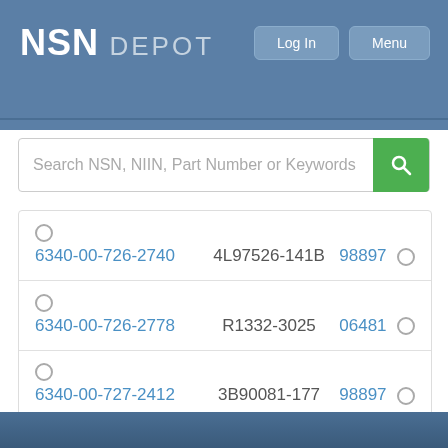NSN DEPOT
Log In | Menu
Search NSN, NIIN, Part Number or Keywords
| NSN | Part Number | CAGE |
| --- | --- | --- |
| 6340-00-726-2740 | 4L97526-141B | 98897 |
| 6340-00-726-2778 | R1332-3025 | 06481 |
| 6340-00-727-2412 | 3B90081-177 | 98897 |